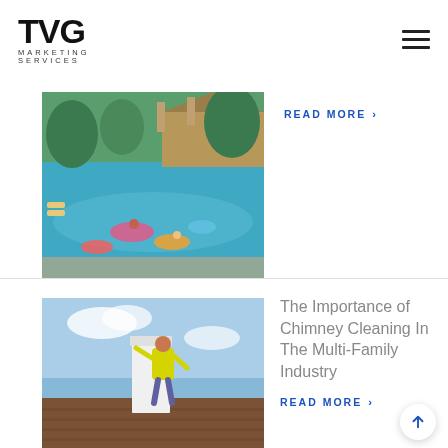TVG MARKETING SERVICES
[Figure (photo): Aerial/ground view of a resort-style swimming pool with colorful pool floats and people, surrounded by lounge chairs and trees on a sunny day.]
READ MORE ›
[Figure (photo): Worker in a yellow safety vest on a rooftop cleaning or inspecting a white chimney against a blue sky background.]
The Importance of Chimney Cleaning In The Multi-Family Industry
READ MORE ›